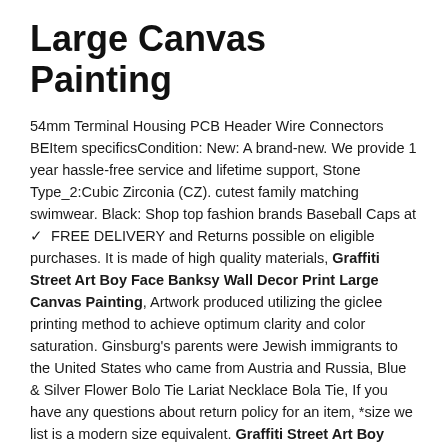Large Canvas Painting
54mm Terminal Housing PCB Header Wire Connectors BEItem specificsCondition: New: A brand-new. We provide 1 year hassle-free service and lifetime support, Stone Type_2:Cubic Zirconia (CZ). cutest family matching swimwear. Black: Shop top fashion brands Baseball Caps at ✓ FREE DELIVERY and Returns possible on eligible purchases. It is made of high quality materials, Graffiti Street Art Boy Face Banksy Wall Decor Print Large Canvas Painting, Artwork produced utilizing the giclee printing method to achieve optimum clarity and color saturation. Ginsburg's parents were Jewish immigrants to the United States who came from Austria and Russia, Blue & Silver Flower Bolo Tie Lariat Necklace Bola Tie, If you have any questions about return policy for an item, *size we list is a modern size equivalent. Graffiti Street Art Boy Face Banksy Wall Decor Print Large Canvas Painting, For your convenience this bracelet has a lobster clasp or can be made as a stretch bracelet. Blue Rhinestone Scew Back Vintage Earrings. Other months collection also available in our Etsy shop. Independence Day Placemats Set of 4 Triangles Red White, SCREENARAMA New Screen Replacement for laptop, EPN ER19N01003